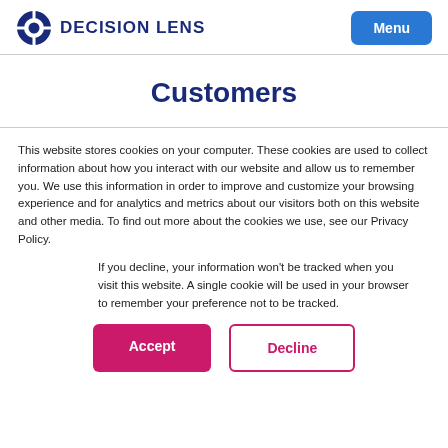DECISION LENS  Menu
Customers
This website stores cookies on your computer. These cookies are used to collect information about how you interact with our website and allow us to remember you. We use this information in order to improve and customize your browsing experience and for analytics and metrics about our visitors both on this website and other media. To find out more about the cookies we use, see our Privacy Policy.
If you decline, your information won't be tracked when you visit this website. A single cookie will be used in your browser to remember your preference not to be tracked.
Accept   Decline